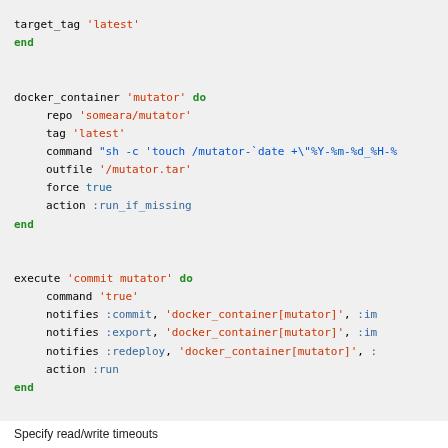Code block showing docker_container and execute resource configurations in Chef/Ruby DSL
Specify read/write timeouts